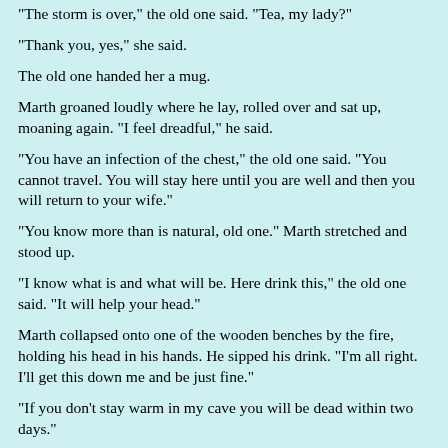"The storm is over," the old one said. "Tea, my lady?"
"Thank you, yes," she said.
The old one handed her a mug.
Marth groaned loudly where he lay, rolled over and sat up, moaning again. "I feel dreadful," he said.
"You have an infection of the chest," the old one said. "You cannot travel. You will stay here until you are well and then you will return to your wife."
"You know more than is natural, old one." Marth stretched and stood up.
"I know what is and what will be. Here drink this," the old one said. "It will help your head."
Marth collapsed onto one of the wooden benches by the fire, holding his head in his hands. He sipped his drink. "I'm all right. I'll get this down me and be just fine."
"If you don't stay warm in my cave you will be dead within two days."
"But I'm never ..." and Marth began to cough, loudly croaking into his mug. "Well, Marielese will be most grateful to you when I return," he muttered when his fit was over. "I did promise I'd be home for winter."